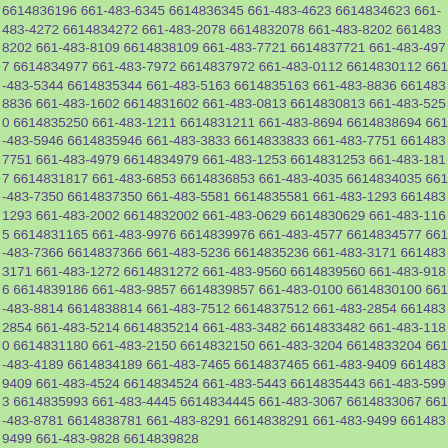6614836196 661-483-6345 6614836345 661-483-4623 6614834623 661-483-4272 6614834272 661-483-2078 6614832078 661-483-8202 6614838202 661-483-8109 6614838109 661-483-7721 6614837721 661-483-4977 6614834977 661-483-7972 6614837972 661-483-0112 6614830112 661-483-5344 6614835344 661-483-5163 6614835163 661-483-8836 6614838836 661-483-1602 6614831602 661-483-0813 6614830813 661-483-5250 6614835250 661-483-1211 6614831211 661-483-8694 6614838694 661-483-5946 6614835946 661-483-3833 6614833833 661-483-7751 6614837751 661-483-4979 6614834979 661-483-1253 6614831253 661-483-1817 6614831817 661-483-6853 6614836853 661-483-4035 6614834035 661-483-7350 6614837350 661-483-5581 6614835581 661-483-1293 6614831293 661-483-2002 6614832002 661-483-0629 6614830629 661-483-1165 6614831165 661-483-9976 6614839976 661-483-4577 6614834577 661-483-7366 6614837366 661-483-5236 6614835236 661-483-3171 6614833171 661-483-1272 6614831272 661-483-9560 6614839560 661-483-9186 6614839186 661-483-9857 6614839857 661-483-0100 6614830100 661-483-8814 6614838814 661-483-7512 6614837512 661-483-2854 6614832854 661-483-5214 6614835214 661-483-3482 6614833482 661-483-1180 6614831180 661-483-2150 6614832150 661-483-3204 6614833204 661-483-4189 6614834189 661-483-7465 6614837465 661-483-9409 6614839409 661-483-4524 6614834524 661-483-5443 6614835443 661-483-5993 6614835993 661-483-4445 6614834445 661-483-3067 6614833067 661-483-8781 6614838781 661-483-8291 6614838291 661-483-9499 6614839499 661-483-9828 6614839828